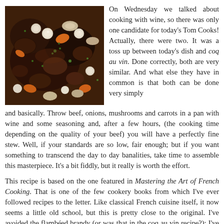[Figure (photo): Overhead close-up photo of a rich beef stew with mushrooms, carrots, pearl onions, and herbs in a dark braising sauce]
On Wednesday we talked about cooking with wine, so there was only one candidate for today's Tom Cooks! Actually, there were two. It was a toss up between today's dish and coq au vin. Done correctly, both are very similar. And what else they have in common is that both can be done very simply and basically. Throw beef, onions, mushrooms and carrots in a pan with wine and some seasoning and, after a few hours, (the cooking time depending on the quality of your beef) you will have a perfectly fine stew. Well, if your standards are so low, fair enough; but if you want something to transcend the day to day banalities, take time to assemble this masterpiece. It's a bit fiddly, but it really is worth the effort.
This recipe is based on the one featured in Mastering the Art of French Cooking. That is one of the few cookery books from which I've ever followed recipes to the letter. Like classical French cuisine itself, it now seems a little old school, but this is pretty close to the original. I've avoided the flambéed brandy (or was that in the coq au vin recipe?); I've taken out the joint